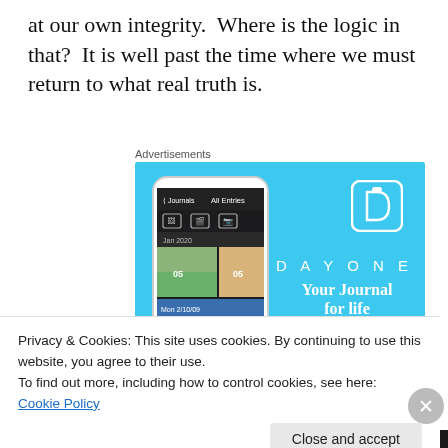at our own integrity.  Where is the logic in that?  It is well past the time where we must return to what real truth is.
Advertisements
[Figure (screenshot): DayOne app advertisement on a blue background featuring a smartphone screenshot of the DayOne journaling app interface, with the DayOne logo (book with bookmark icon), the text 'DAYONE', and tagline 'Your Journal for life']
Privacy & Cookies: This site uses cookies. By continuing to use this website, you agree to their use.
To find out more, including how to control cookies, see here: Cookie Policy
Close and accept